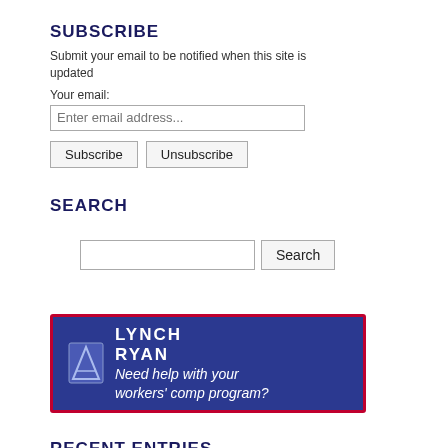SUBSCRIBE
Submit your email to be notified when this site is updated
Your email:
Enter email address...
Subscribe  Unsubscribe
SEARCH
[Figure (other): Search input box and Search button]
[Figure (logo): Lynch Ryan banner ad — blue background with logo and text: Need help with your workers' comp program?]
RECENT ENTRIES
Do Right To Carry Laws Make Us Safer?
The Grinding Wheels Of Justice
Two Stories – Only One Of Them Good
On Health, History And The Fine Art Of Fudging Data
Friday Thoughts About Precrime: Alive And Well In The Florida Of Ron DeSantis
Two Months Worth Of News In Ten Days